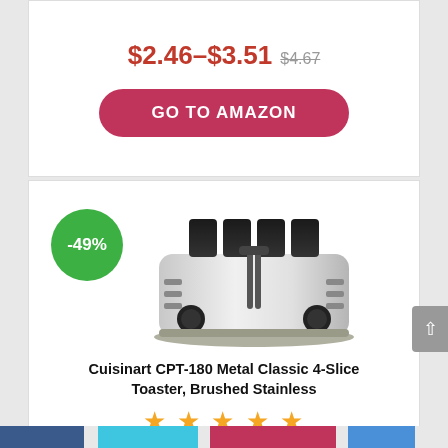$2.46–$3.51 $4.67
GO TO AMAZON
[Figure (other): Green circular badge showing -49% discount, overlaid on top-left of product card]
[Figure (photo): Cuisinart CPT-180 Metal Classic 4-Slice Toaster, Brushed Stainless – product photo of a silver stainless steel 4-slot toaster with black accents and knobs]
Cuisinart CPT-180 Metal Classic 4-Slice Toaster, Brushed Stainless
★ ★ ★ ★ ★